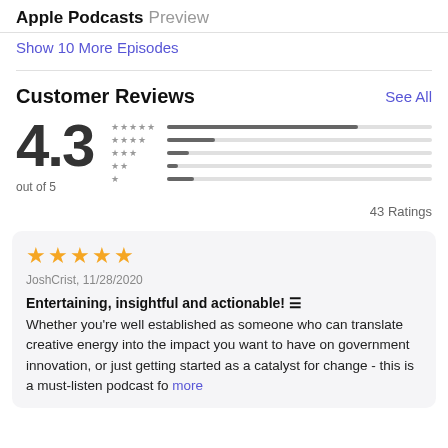Apple Podcasts Preview
Show 10 More Episodes
Customer Reviews
See All
4.3 out of 5
43 Ratings
JoshCrist, 11/28/2020
Entertaining, insightful and actionable! Whether you’re well established as someone who can translate creative energy into the impact you want to have on government innovation, or just getting started as a catalyst for change - this is a must-listen podcast fo more